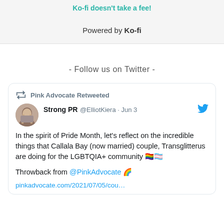Ko-fi doesn't take a fee!
Powered by Ko-fi
- Follow us on Twitter -
[Figure (screenshot): Embedded tweet card: Pink Advocate Retweeted. Strong PR @ElliotKiera · Jun 3. In the spirit of Pride Month, let's reflect on the incredible things that Callala Bay (now married) couple, Transglitterus are doing for the LGBTQIA+ community 🏳️‍🌈🏳️‍⚧️. Throwback from @PinkAdvocate 🌈. pinkadvocate.com/2021/07/05/cou…]